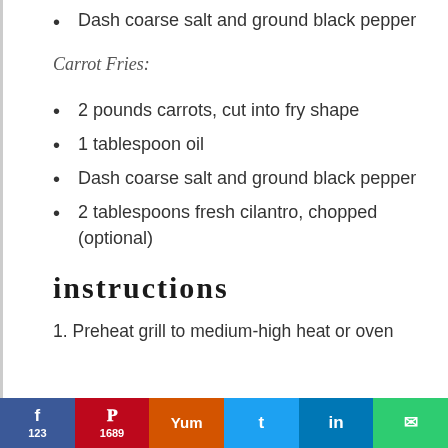Dash coarse salt and ground black pepper
Carrot Fries:
2 pounds carrots, cut into fry shape
1 tablespoon oil
Dash coarse salt and ground black pepper
2 tablespoons fresh cilantro, chopped (optional)
instructions
1. Preheat grill to medium-high heat or oven
f 123 | 1689 | Yum | t | in | mail